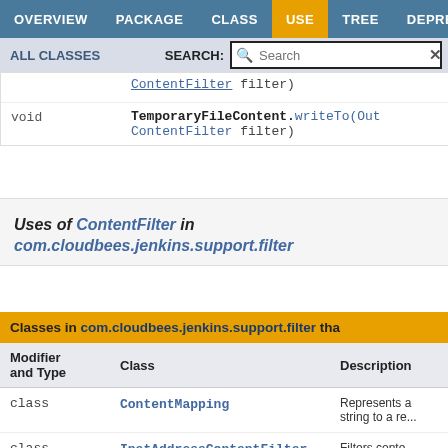OVERVIEW  PACKAGE  CLASS  USE  TREE  DEPRECATED
ALL CLASSES   SEARCH:
|  |  |
| --- | --- |
| void | TemporaryFileContent.writeTo(Out ContentFilter filter) |
Uses of ContentFilter in com.cloudbees.jenkins.support.filter
| Modifier and Type | Class | Description |
| --- | --- | --- |
| class | ContentMapping | Represents a string to a re... |
| class | InetAddressContentFilter | Filters conte... IPv4 and IPv6... |